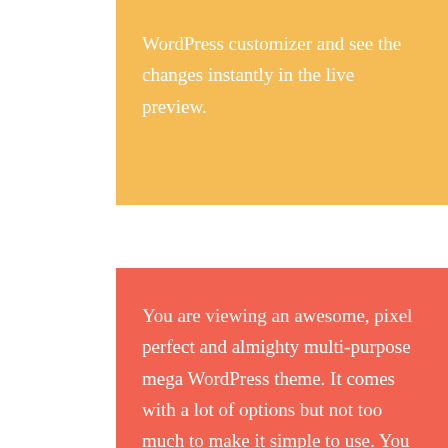WordPress customizer and see the changes instantly in the live preview.
You are viewing an awesome, pixel perfect and almighty multi-purpose mega WordPress theme. It comes with a lot of options but not too much to make it simple to use. You can change the appearance very easily by using the WordPress customizer and see the changes instantly in the live preview.